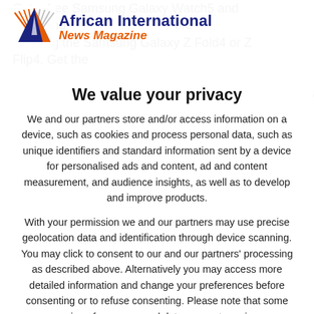[Figure (logo): African International News Magazine logo: triangular icon with navy and orange sections and radiating lines, beside the text 'African International' in dark navy bold and 'News Magazine' in orange italic bold below]
We value your privacy
We and our partners store and/or access information on a device, such as cookies and process personal data, such as unique identifiers and standard information sent by a device for personalised ads and content, ad and content measurement, and audience insights, as well as to develop and improve products.

With your permission we and our partners may use precise geolocation data and identification through device scanning. You may click to consent to our and our partners' processing as described above. Alternatively you may access more detailed information and change your preferences before consenting or to refuse consenting. Please note that some processing of your personal data may not require your consent, but you have a right to object to such processing. Your preferences will apply to this website only. You can